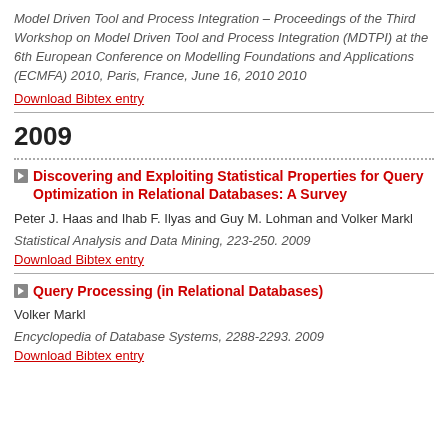Model Driven Tool and Process Integration – Proceedings of the Third Workshop on Model Driven Tool and Process Integration (MDTPI) at the 6th European Conference on Modelling Foundations and Applications (ECMFA) 2010, Paris, France, June 16, 2010 2010
Download Bibtex entry
2009
Discovering and Exploiting Statistical Properties for Query Optimization in Relational Databases: A Survey
Peter J. Haas and Ihab F. Ilyas and Guy M. Lohman and Volker Markl
Statistical Analysis and Data Mining, 223-250. 2009
Download Bibtex entry
Query Processing (in Relational Databases)
Volker Markl
Encyclopedia of Database Systems, 2288-2293. 2009
Download Bibtex entry